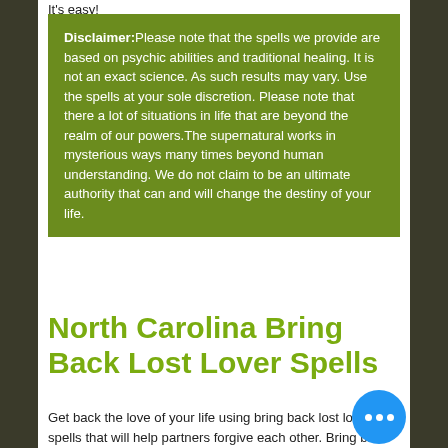It's easy!
Disclaimer:Please note that the spells we provide are based on psychic abilities and traditional healing. It is not an exact science. As such results may vary. Use the spells at your sole discretion. Please note that there a lot of situations in life that are beyond the realm of our powers.The supernatural works in mysterious ways many times beyond human understanding. We do not claim to be an ultimate authority that can and will change the destiny of your life.
North Carolina Bring Back Lost Lover Spells
Get back the love of your life using bring back lost love spells that will help partners forgive each other. Bring back your ex-lover,